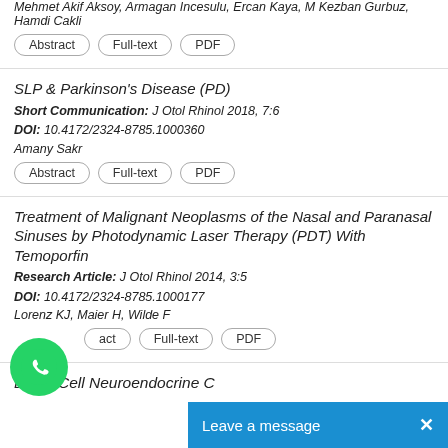Mehmet Akif Aksoy, Armagan Incesulu, Ercan Kaya, M Kezban Gurbuz, Hamdi Cakli
Abstract | Full-text | PDF
SLP & Parkinson's Disease (PD)
Short Communication: J Otol Rhinol 2018, 7:6
DOI: 10.4172/2324-8785.1000360
Amany Sakr
Abstract | Full-text | PDF
Treatment of Malignant Neoplasms of the Nasal and Paranasal Sinuses by Photodynamic Laser Therapy (PDT) With Temoporfin
Research Article: J Otol Rhinol 2014, 3:5
DOI: 10.4172/2324-8785.1000177
Lorenz KJ, Maier H, Wilde F
Abstract | Full-text | PDF
Large Cell Neuroendocrine C...